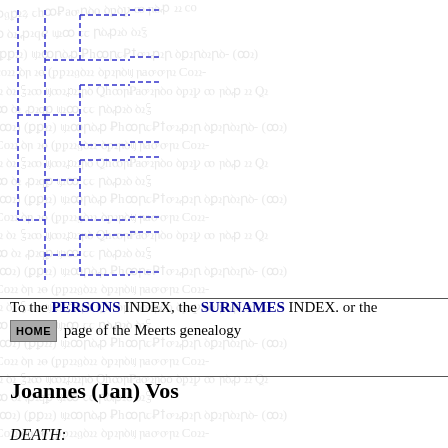[Figure (organizational-chart): Genealogy/family tree bracket diagram drawn with blue dashed lines showing hierarchical bracket connections]
To the PERSONS INDEX, the SURNAMES INDEX. or the HOME page of the Meerts genealogy
Joannes (Jan) Vos
DEATH: